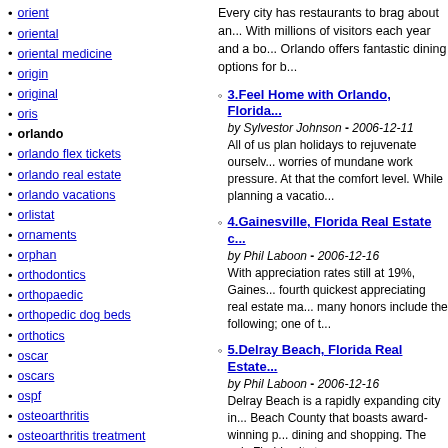orient
oriental
oriental medicine
origin
original
oris
orlando
orlando flex tickets
orlando real estate
orlando vacations
orlistat
ornaments
orphan
orthodontics
orthopaedic
orthopedic dog beds
orthotics
oscar
oscars
ospf
osteoarthritis
osteoarthritis treatment
osteoporosis
otc stocks
other
others
ottawa
Every city has restaurants to brag about and Orlando is no different. With millions of visitors each year and a booming local economy, Orlando offers fantastic dining options for b...
3. Feel Home with Orlando, Florida...
by Sylvestor Johnson - 2006-12-11
All of us plan holidays to rejuvenate ourselves from the worries of mundane work pressure. At that the comfort level. While planning a vacatio...
4. Gainesville, Florida Real Estate c...
by Phil Laboon - 2006-12-16
With appreciation rates still at 19%, Gainesville is the fourth quickest appreciating real estate ma... many honors include the following; one of t...
5. Delray Beach, Florida Real Estate...
by Phil Laboon - 2006-12-16
Delray Beach is a rapidly expanding city in Palm Beach County that boasts award-winning p... dining and shopping. The only Florida city t...
6. Finding a Budget New York Hote...
by Rajni - 2006-12-18
With all the movement of New York, you'll need a New York hotel or other place to put your... York City hostels and cheap New York hote...